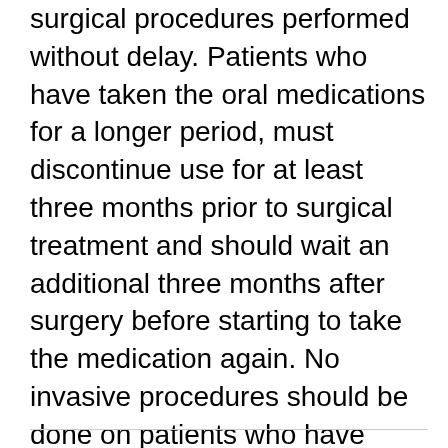surgical procedures performed without delay. Patients who have taken the oral medications for a longer period, must discontinue use for at least three months prior to surgical treatment and should wait an additional three months after surgery before starting to take the medication again. No invasive procedures should be done on patients who have taken or who are presently taking the injectable bisphosphonates (Aredia or Zometa). These patients should be referred to an oral maxillofacial surgeon for evaluation and treatment.